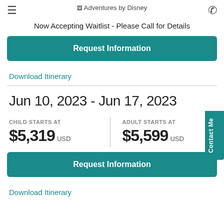Adventures by Disney
Now Accepting Waitlist - Please Call for Details
Request Information
Download Itinerary
Jun 10, 2023 - Jun 17, 2023
CHILD STARTS AT $5,319 USD
ADULT STARTS AT $5,599 USD
Request Information
Download Itinerary